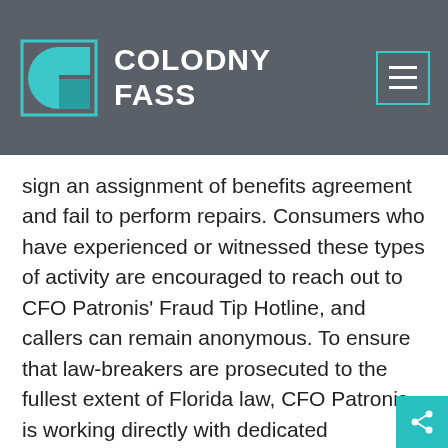COLODNY FASS
sign an assignment of benefits agreement and fail to perform repairs. Consumers who have experienced or witnessed these types of activity are encouraged to reach out to CFO Patronis’ Fraud Tip Hotline, and callers can remain anonymous. To ensure that law-breakers are prosecuted to the fullest extent of Florida law, CFO Patronis is working directly with dedicated prosecutors housed within each of the respective State Attorney’s Offices.
Read Full Story posted by Florida Department of Financial Services (05/22/18)